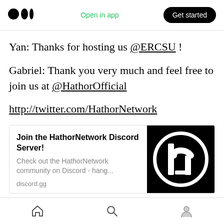Medium app header with logo, Open in app, Get started
Yan: Thanks for hosting us @ERCSU !
Gabriel: Thank you very much and feel free to join us at @HathorOfficial
http://twitter.com/HathorNetwork
[Figure (infographic): Discord server invite card for HathorNetwork with title 'Join the HathorNetwork Discord Server!', description 'Check out the HathorNetwork community on Discord - hang...', domain 'discord.gg', and black Hathor logo on right side]
Bottom navigation bar with home, search, and profile icons